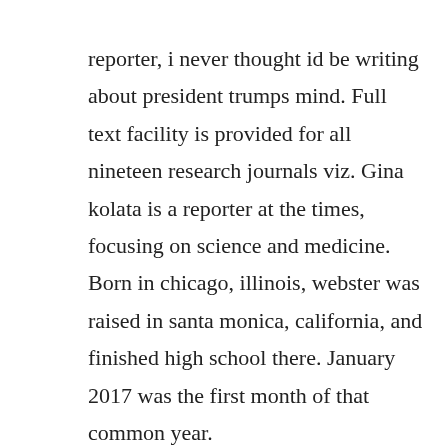reporter, i never thought id be writing about president trumps mind. Full text facility is provided for all nineteen research journals viz. Gina kolata is a reporter at the times, focusing on science and medicine. Born in chicago, illinois, webster was raised in santa monica, california, and finished high school there. January 2017 was the first month of that common year.
January 2017 learn how and when to remove this template message. By james gallagher health and science reporter, bbc news website.